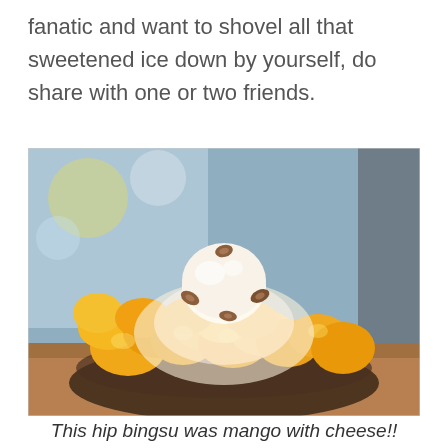fanatic and want to shovel all that sweetened ice down by yourself, do share with one or two friends.
[Figure (photo): A bowl of mango bingsu (Korean shaved ice dessert) topped with large chunks of fresh mango, ice cream scoop, and almonds, served in a dark glass bowl on a wooden table. Background shows a café interior with bokeh lighting.]
This hip bingsu was mango with cheese!!